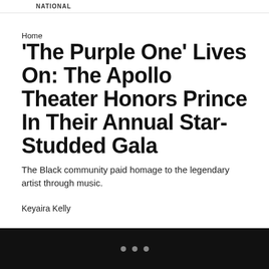NATIONAL
Home
'The Purple One' Lives On: The Apollo Theater Honors Prince In Their Annual Star-Studded Gala
The Black community paid homage to the legendary artist through music.
Keyaira Kelly
• • •